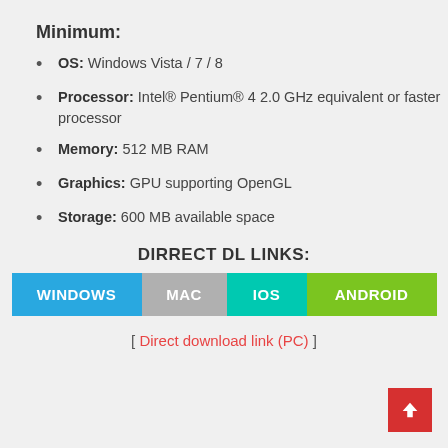Minimum:
OS: Windows Vista / 7 / 8
Processor: Intel® Pentium® 4 2.0 GHz equivalent or faster processor
Memory: 512 MB RAM
Graphics: GPU supporting OpenGL
Storage: 600 MB available space
DIRRECT DL LINKS:
[Figure (other): Download buttons for WINDOWS, MAC, IOS, ANDROID platforms]
[ Direct download link (PC) ]